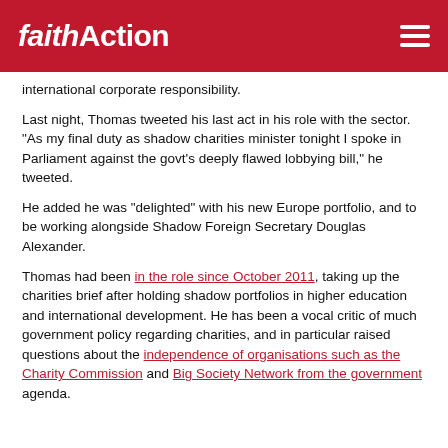FaithAction
international corporate responsibility.
Last night, Thomas tweeted his last act in his role with the sector. "As my final duty as shadow charities minister tonight I spoke in Parliament against the govt's deeply flawed lobbying bill," he tweeted.
He added he was "delighted" with his new Europe portfolio, and to be working alongside Shadow Foreign Secretary Douglas Alexander.
Thomas had been in the role since October 2011, taking up the charities brief after holding shadow portfolios in higher education and international development. He has been a vocal critic of much government policy regarding charities, and in particular raised questions about the independence of organisations such as the Charity Commission and Big Society Network from the government agenda.